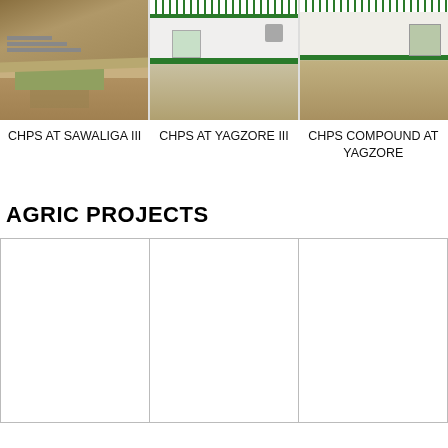[Figure (photo): Three photos in a row showing construction/CHPS compound sites at Sawaliga III, Yagzore III, and Yagzore]
CHPS AT SAWALIGA III   CHPS AT YAGZORE III   CHPS COMPOUND AT YAGZORE
AGRIC PROJECTS
[Figure (photo): Three blank/white photo placeholders in a row for agric projects]